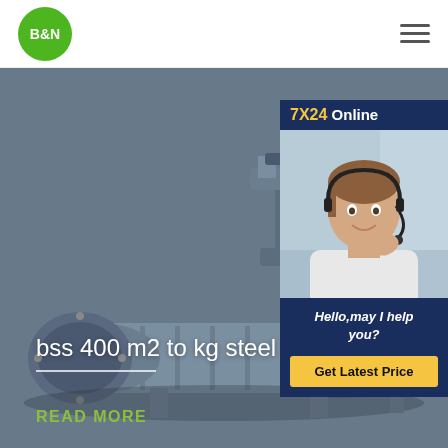[Figure (logo): B&N logo — white bold text on green circle]
[Figure (photo): Industrial steel pipe/machinery on grey background — hero banner image]
bss 400 m2 to kg steel plate
READ MORE
[Figure (photo): 7X24 Online chat widget — headset-wearing customer service agent photo with Hello,may I help you? text and Get Latest Price button]